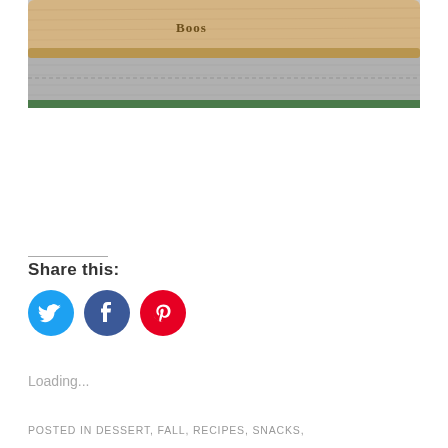[Figure (photo): A Boos brand wooden cutting board resting on a textured gray surface with a green edge visible at the bottom.]
Share this:
[Figure (infographic): Three social media share buttons: Twitter (blue), Facebook (dark blue), Pinterest (red)]
Loading...
POSTED IN DESSERT, FALL, RECIPES, SNACKS,